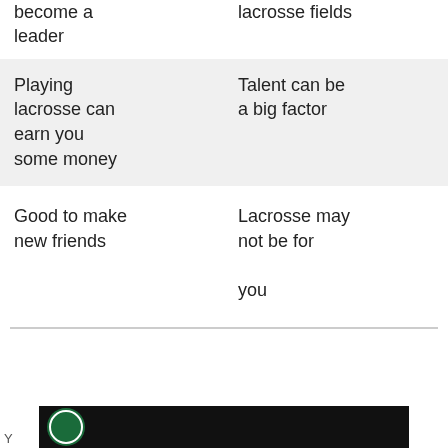become a leader
lacrosse fields
Playing lacrosse can earn you some money
Talent can be a big factor
Good to make new friends
Lacrosse may not be for you
[Figure (photo): Advertisement bar with logo at bottom of page]